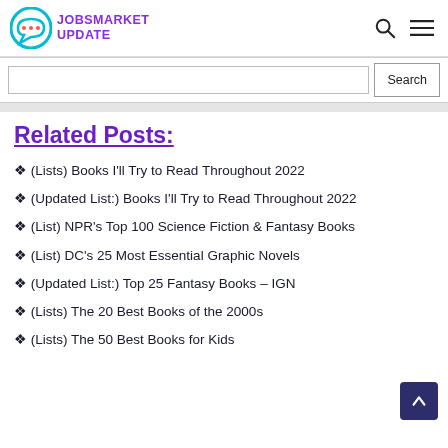JOBSMARKET UPDATE
Search
Related Posts:
❖ (Lists) Books I'll Try to Read Throughout 2022
❖ (Updated List:) Books I'll Try to Read Throughout 2022
❖ (List) NPR's Top 100 Science Fiction & Fantasy Books
❖ (List) DC's 25 Most Essential Graphic Novels
❖ (Updated List:) Top 25 Fantasy Books – IGN
❖ (Lists) The 20 Best Books of the 2000s
❖ (Lists) The 50 Best Books for Kids